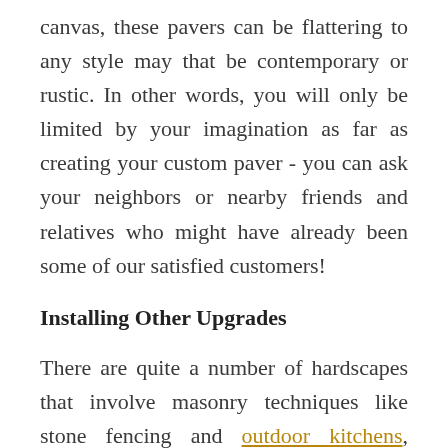canvas, these pavers can be flattering to any style may that be contemporary or rustic. In other words, you will only be limited by your imagination as far as creating your custom paver - you can ask your neighbors or nearby friends and relatives who might have already been some of our satisfied customers!
Installing Other Upgrades
There are quite a number of hardscapes that involve masonry techniques like stone fencing and outdoor kitchens, which are appealing and functional upgrades at the same time.  With a touch of creativity and brilliant workmanship, your outdoors will be just as comforting as when you are